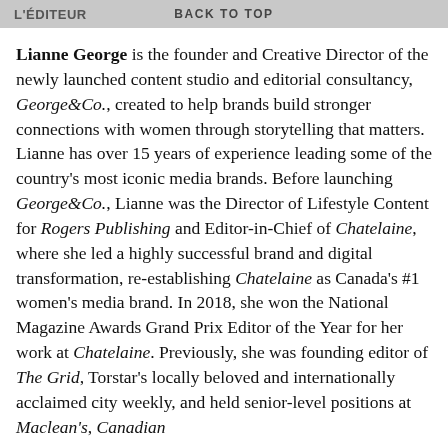L'ÉDITEUR | BACK TO TOP
Lianne George is the founder and Creative Director of the newly launched content studio and editorial consultancy, George&Co., created to help brands build stronger connections with women through storytelling that matters. Lianne has over 15 years of experience leading some of the country's most iconic media brands. Before launching George&Co., Lianne was the Director of Lifestyle Content for Rogers Publishing and Editor-in-Chief of Chatelaine, where she led a highly successful brand and digital transformation, re-establishing Chatelaine as Canada's #1 women's media brand. In 2018, she won the National Magazine Awards Grand Prix Editor of the Year for her work at Chatelaine. Previously, she was founding editor of The Grid, Torstar's locally beloved and internationally acclaimed city weekly, and held senior-level positions at Maclean's, Canadian